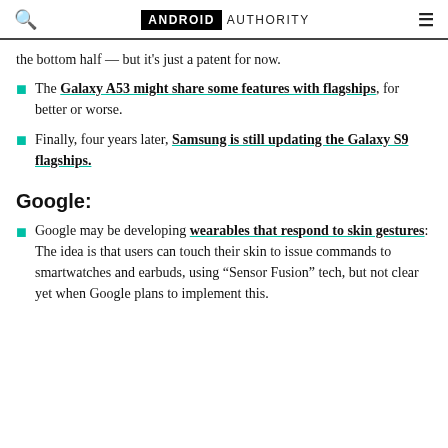ANDROID AUTHORITY
the bottom half — but it’s just a patent for now.
The Galaxy A53 might share some features with flagships, for better or worse.
Finally, four years later, Samsung is still updating the Galaxy S9 flagships.
Google:
Google may be developing wearables that respond to skin gestures: The idea is that users can touch their skin to issue commands to smartwatches and earbuds, using “Sensor Fusion” tech, but not clear yet when Google plans to implement this.